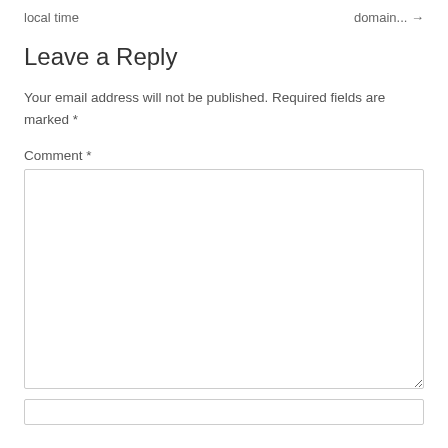local time
domain... →
Leave a Reply
Your email address will not be published. Required fields are marked *
Comment *
[Figure (other): Empty comment text area input box]
[Figure (other): Empty name input field (partially visible at bottom)]